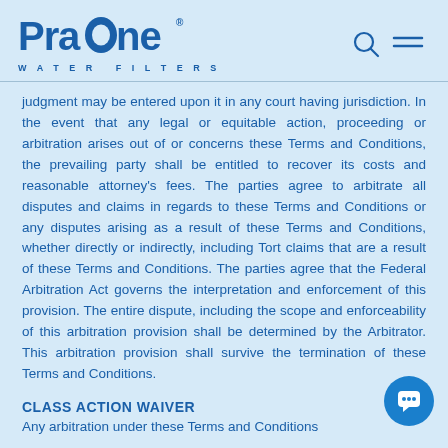ProOne Water Filters
judgment may be entered upon it in any court having jurisdiction. In the event that any legal or equitable action, proceeding or arbitration arises out of or concerns these Terms and Conditions, the prevailing party shall be entitled to recover its costs and reasonable attorney's fees. The parties agree to arbitrate all disputes and claims in regards to these Terms and Conditions or any disputes arising as a result of these Terms and Conditions, whether directly or indirectly, including Tort claims that are a result of these Terms and Conditions. The parties agree that the Federal Arbitration Act governs the interpretation and enforcement of this provision. The entire dispute, including the scope and enforceability of this arbitration provision shall be determined by the Arbitrator. This arbitration provision shall survive the termination of these Terms and Conditions.
CLASS ACTION WAIVER
Any arbitration under these Terms and Conditions